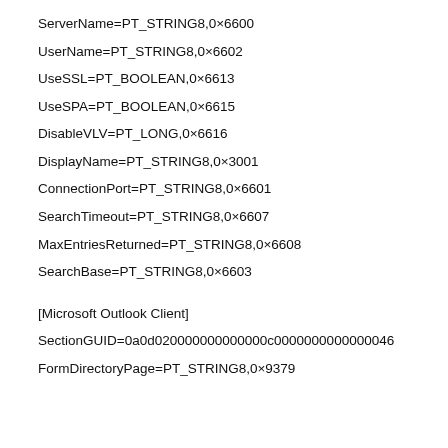ServerName=PT_STRING8,0×6600
UserName=PT_STRING8,0×6602
UseSSL=PT_BOOLEAN,0×6613
UseSPA=PT_BOOLEAN,0×6615
DisableVLV=PT_LONG,0×6616
DisplayName=PT_STRING8,0×3001
ConnectionPort=PT_STRING8,0×6601
SearchTimeout=PT_STRING8,0×6607
MaxEntriesReturned=PT_STRING8,0×6608
SearchBase=PT_STRING8,0×6603
[Microsoft Outlook Client]
SectionGUID=0a0d020000000000000c0000000000000046
FormDirectoryPage=PT_STRING8,0×9379